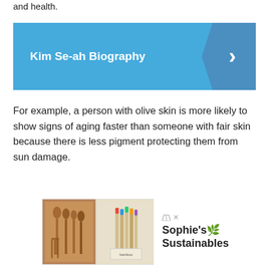and health.
[Figure (other): Blue banner with white bold text 'Kim Se-ah Biography' and a right-pointing chevron arrow on a darker blue right panel]
For example, a person with olive skin is more likely to show signs of aging faster than someone with fair skin because there is less pigment protecting them from sun damage.
[Figure (other): Advertisement block showing wooden kitchen utensils on the left image and colorful bamboo brushes/pens on the right image, with brand name Sophie's Sustainables and a leaf logo on the right side]